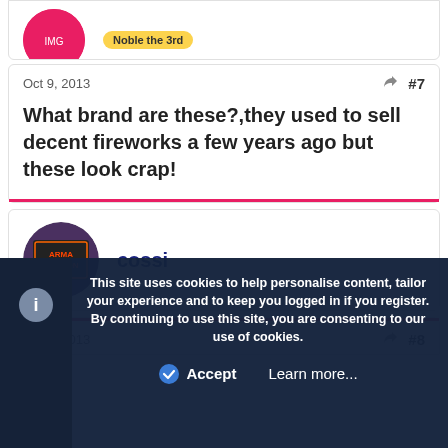[Figure (photo): Partial top of a forum post showing a pink circular avatar and a yellow badge reading 'Noble the 3rd']
Oct 9, 2013
#7
What brand are these?,they used to sell decent fireworks a few years ago but these look crap!
[Figure (photo): Circular avatar image for user cossi showing armageddon-style graphic]
cossi
Oct 9, 2013
#8
This site uses cookies to help personalise content, tailor your experience and to keep you logged in if you register.
By continuing to use this site, you are consenting to our use of cookies.
Accept
Learn more...